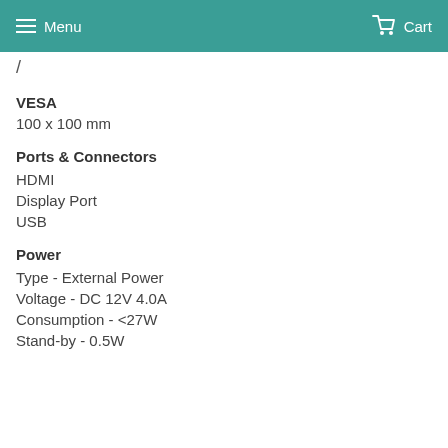Menu  Cart
/
VESA
100 x 100 mm
Ports & Connectors
HDMI
Display Port
USB
Power
Type - External Power
Voltage - DC 12V 4.0A
Consumption - <27W
Stand-by - 0.5W